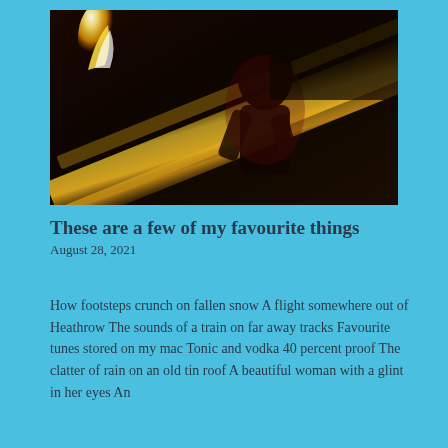[Figure (photo): Dark atmospheric photo showing a silhouetted figure with a fire/flame visible in the upper left, and golden streaks of light across the frame]
These are a few of my favourite things
August 28, 2021
How footsteps crunch on fallen snow A flight somewhere out of Heathrow The sounds of a train on far away tracks Favourite tunes stored on my mac Tonic and vodka 40 percent proof The clatter of rain on an old tin roof A beautiful woman with a glint in her eyes An